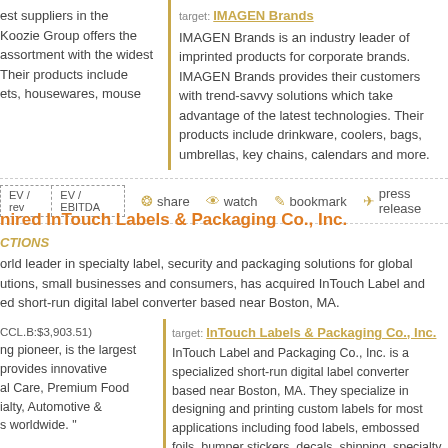est suppliers in the Koozie Group offers the assortment with the widest Their products include ets, housewares, mouse
target: IMAGEN Brands. IMAGEN Brands is an industry leader of imprinted products for corporate brands. IMAGEN Brands provides their customers with trend-savvy solutions which take advantage of the latest technologies. Their products include drinkware, coolers, bags, umbrellas, key chains, calendars and more.
EV / rev | EV / EBITDA | share | watch | bookmark | press release
nired InTouch Labels & Packaging Co., Inc.
CTIONS
orld leader in specialty label, security and packaging solutions for global utions, small businesses and consumers, has acquired InTouch Label and ed short-run digital label converter based near Boston, MA.
CCL.B:$3,903.51) ng pioneer, is the largest provides innovative al Care, Premium Food ialty, Automotive & s worldwide.
target: InTouch Labels & Packaging Co., Inc. InTouch Label and Packaging Co., Inc. is a specialized short-run digital label converter based near Boston, MA. They specialize in designing and printing custom labels for most applications including food labels, embossed foils, bumper stickers, decals, shipping, specialty items, and more.
EV / rev | EV / EBITDA | share | watch | bookmark | press release